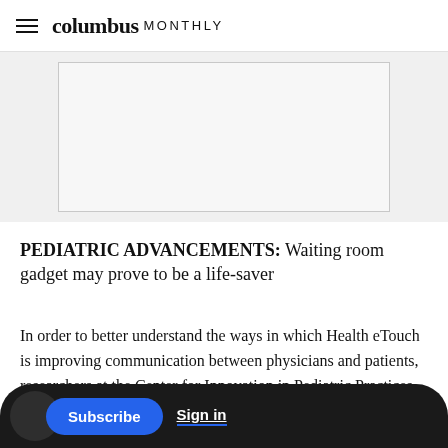columbus MONTHLY
[Figure (other): Gray advertisement placeholder box]
PEDIATRIC ADVANCEMENTS: Waiting room gadget may prove to be a life-saver
In order to better understand the ways in which Health eTouch is improving communication between physicians and patients, researchers at the Center for Innovation in Pediatric Practices in The Research Institute at Nationwide Children's published in the June issue of Pediatrics.